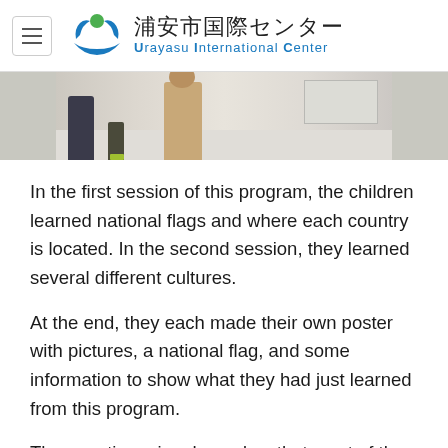浦安市国際センター Urayasu International Center
[Figure (photo): Photograph showing people walking in a corridor or hallway, with figures including someone in a beige/tan long garment and others in darker clothing. The setting appears to be an indoor facility.]
In the first session of this program, the children learned national flags and where each country is located. In the second session, they learned several different cultures.
At the end, they each made their own poster with pictures, a national flag, and some information to show what they had just learned from this program.
The questionnaire showed us that most of the children enjoyed this program and got a great chance to embark on learning more about the world.